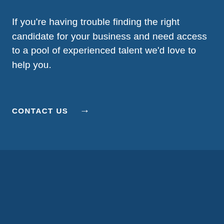If you're having trouble finding the right candidate for your business and need access to a pool of experienced talent we'd love to help you.
CONTACT US →
Centastaff – 103/189e S Centre Rd, Tullamarine VIC 3043 © 2022 Centastaff. All rights reserved | Website by Pixeld.
[Figure (logo): Centastaff logo with people icon and wordmark, appearing twice, plus small colored logo icon on left and hamburger menu on right]